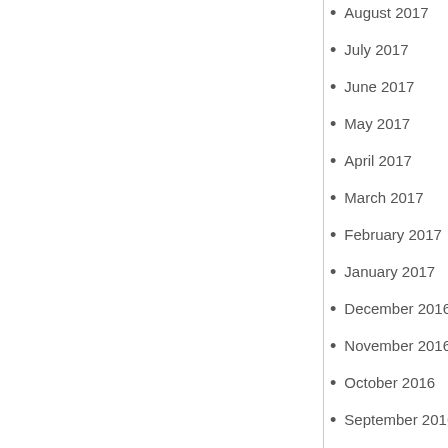August 2017
July 2017
June 2017
May 2017
April 2017
March 2017
February 2017
January 2017
December 2016
November 2016
October 2016
September 2016
August 2016
July 2016
June 2016
May 2016